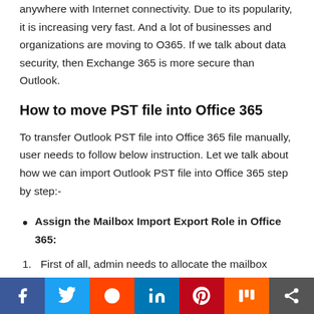anywhere with Internet connectivity. Due to its popularity, it is increasing very fast. And a lot of businesses and organizations are moving to O365. If we talk about data security, then Exchange 365 is more secure than Outlook.
How to move PST file into Office 365
To transfer Outlook PST file into Office 365 file manually, user needs to follow below instruction. Let we talk about how we can import Outlook PST file into Office 365 step by step:-
Assign the Mailbox Import Export Role in Office 365:
First of all, admin needs to allocate the mailbox Import Export Role. For this:
[Figure (infographic): Social media sharing bar with icons for Facebook, Twitter, Reddit, LinkedIn, Pinterest, Mix, and Share]